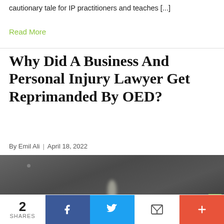cautionary tale for IP practitioners and teaches [...]
Read More
Why Did A Business And Personal Injury Lawyer Get Reprimanded By OED?
By Emil Ali  |  April 18, 2022
[Figure (photo): Dark/grey photograph, likely outdoor scene with dim lighting and a faint bright element near the bottom center. Green badge visible in lower right corner.]
2 SHARES